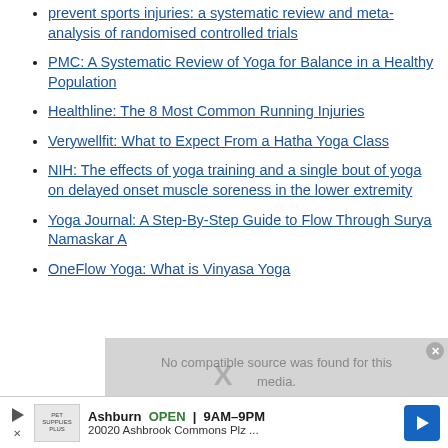prevent sports injuries: a systematic review and meta-analysis of randomised controlled trials
PMC: A Systematic Review of Yoga for Balance in a Healthy Population
Healthline: The 8 Most Common Running Injuries
Verywellfit: What to Expect From a Hatha Yoga Class
NIH: The effects of yoga training and a single bout of yoga on delayed onset muscle soreness in the lower extremity
Yoga Journal: A Step-By-Step Guide to Flow Through Surya Namaskar A
OneFlow Yoga: What is Vinyasa Yoga
[Figure (screenshot): Ad overlay with 'No compatible source was found for this media.' message and an advertisement banner for Pet Supplies Plus in Ashburn, OPEN 9AM-9PM, 20020 Ashbrook Commons Plz]